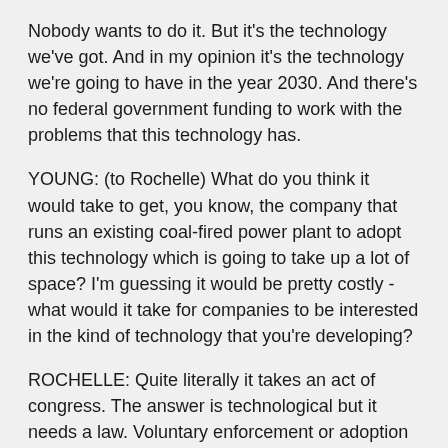Nobody wants to do it. But it's the technology we've got. And in my opinion it's the technology we're going to have in the year 2030. And there's no federal government funding to work with the problems that this technology has.
YOUNG: (to Rochelle) What do you think it would take to get, you know, the company that runs an existing coal-fired power plant to adopt this technology which is going to take up a lot of space? I'm guessing it would be pretty costly - what would it take for companies to be interested in the kind of technology that you're developing?
ROCHELLE: Quite literally it takes an act of congress. The answer is technological but it needs a law. Voluntary enforcement or adoption of this technology is not going to happen to any major extent.